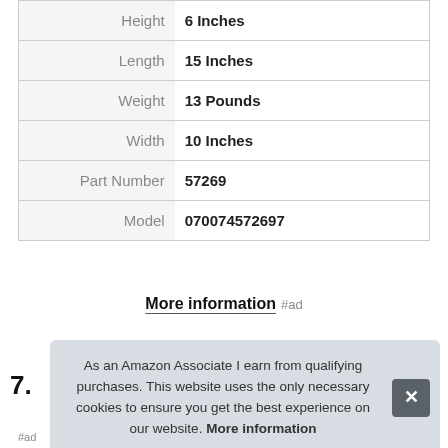| Attribute | Value |
| --- | --- |
| Height | 6 Inches |
| Length | 15 Inches |
| Weight | 13 Pounds |
| Width | 10 Inches |
| Part Number | 57269 |
| Model | 070074572697 |
More information #ad
7.
As an Amazon Associate I earn from qualifying purchases. This website uses the only necessary cookies to ensure you get the best experience on our website. More information
#ad